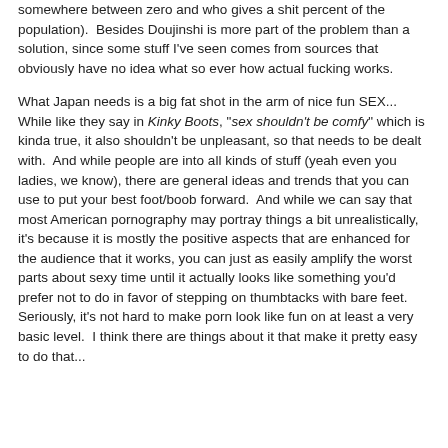somewhere between zero and who gives a shit percent of the population).  Besides Doujinshi is more part of the problem than a solution, since some stuff I've seen comes from sources that obviously have no idea what so ever how actual fucking works.
What Japan needs is a big fat shot in the arm of nice fun SEX... While like they say in Kinky Boots, "sex shouldn't be comfy" which is kinda true, it also shouldn't be unpleasant, so that needs to be dealt with.  And while people are into all kinds of stuff (yeah even you ladies, we know), there are general ideas and trends that you can use to put your best foot/boob forward.  And while we can say that most American pornography may portray things a bit unrealistically, it's because it is mostly the positive aspects that are enhanced for the audience that it works, you can just as easily amplify the worst parts about sexy time until it actually looks like something you'd prefer not to do in favor of stepping on thumbtacks with bare feet.  Seriously, it's not hard to make porn look like fun on at least a very basic level.  I think there are things about it that make it pretty easy to do that...